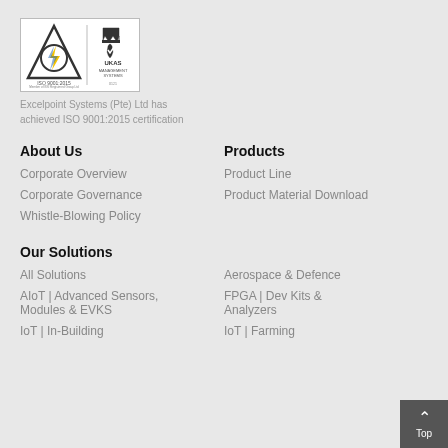[Figure (logo): ISO 9001:2015 and UKAS Management Systems certification logos side by side in a white bordered box]
Excelpoint Systems (Pte) Ltd has achieved ISO 9001:2015 certification
About Us
Corporate Overview
Corporate Governance
Whistle-Blowing Policy
Products
Product Line
Product Material Download
Our Solutions
All Solutions
AIoT | Advanced Sensors, Modules & EVKS
IoT | In-Building
Aerospace & Defence
FPGA | Dev Kits & Analyzers
IoT | Farming